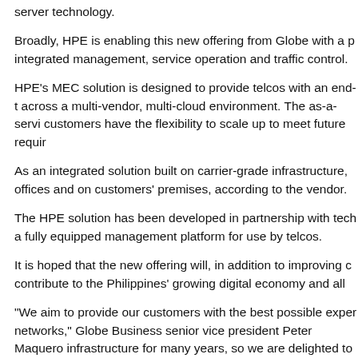server technology.
Broadly, HPE is enabling this new offering from Globe with a p integrated management, service operation and traffic control.
HPE's MEC solution is designed to provide telcos with an end-t across a multi-vendor, multi-cloud environment. The as-a-servi customers have the flexibility to scale up to meet future requir
As an integrated solution built on carrier-grade infrastructure, offices and on customers' premises, according to the vendor.
The HPE solution has been developed in partnership with tech a fully equipped management platform for use by telcos.
It is hoped that the new offering will, in addition to improving contribute to the Philippines' growing digital economy and all
"We aim to provide our customers with the best possible exper networks," Globe Business senior vice president Peter Maquero infrastructure for many years, so we are delighted to have ther portfolio.